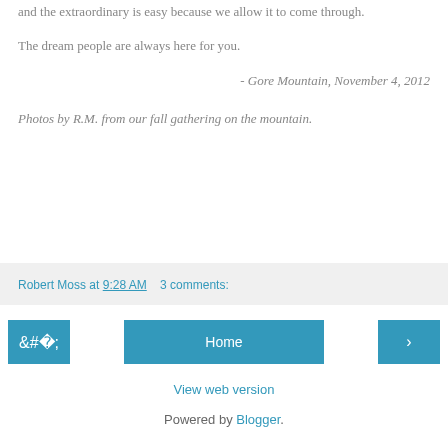and the extraordinary is easy because we allow it to come through.
The dream people are always here for you.
- Gore Mountain, November 4, 2012
Photos by R.M. from our fall gathering on the mountain.
Robert Moss at 9:28 AM   3 comments:
‹
Home
›
View web version
Powered by Blogger.